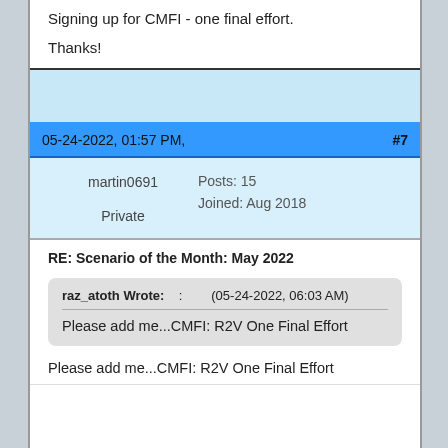Signing up for CMFI - one final effort.

Thanks!
05-24-2022, 01:57 PM,   #7
martin0691   Posts: 15   Joined: Aug 2018   Private
RE: Scenario of the Month: May 2022
raz_atoth Wrote:  :  (05-24-2022, 06:03 AM)
Please add me...CMFI: R2V One Final Effort
Please add me...CMFI: R2V One Final Effort